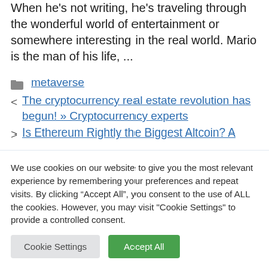When he's not writing, he's traveling through the wonderful world of entertainment or somewhere interesting in the real world. Mario is the man of his life, ...
metaverse
< The cryptocurrency real estate revolution has begun! » Cryptocurrency experts
> Is Ethereum Rightly the Biggest Altcoin? A
We use cookies on our website to give you the most relevant experience by remembering your preferences and repeat visits. By clicking “Accept All”, you consent to the use of ALL the cookies. However, you may visit "Cookie Settings" to provide a controlled consent.